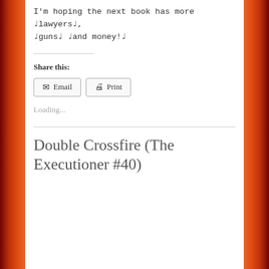I'm hoping the next book has more ♩lawyers♩, ♩guns♩ ♩and money!♩
Share this:
Loading...
Double Crossfire (The Executioner #40)